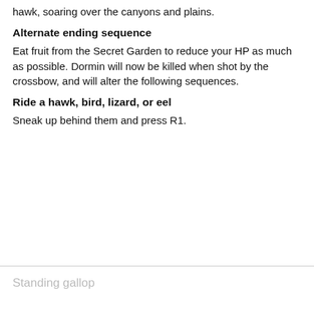hawk, soaring over the canyons and plains.
Alternate ending sequence
Eat fruit from the Secret Garden to reduce your HP as much as possible. Dormin will now be killed when shot by the crossbow, and will alter the following sequences.
Ride a hawk, bird, lizard, or eel
Sneak up behind them and press R1.
Standing gallop